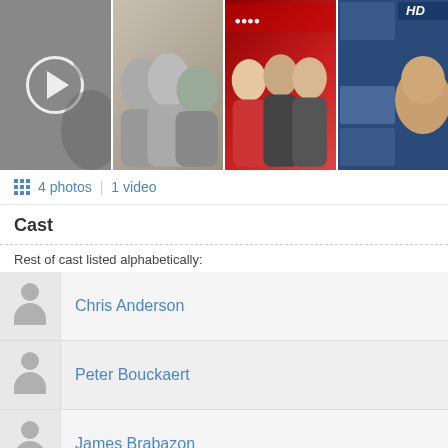[Figure (photo): Strip of 4 photos/thumbnails: (1) dark video thumbnail with play button, (2) group photo of men in white shirts, (3) group at red carpet event, (4) HD thumbnail with close-up portrait]
4 photos | 1 video
Cast
Rest of cast listed alphabetically:
Chris Anderson
Peter Bouckaert
James Brabazon
Guillermo Cervera
Alistair Hetherington
Tim Hetherington
Victoria Hetherington
Idil Ibrahim